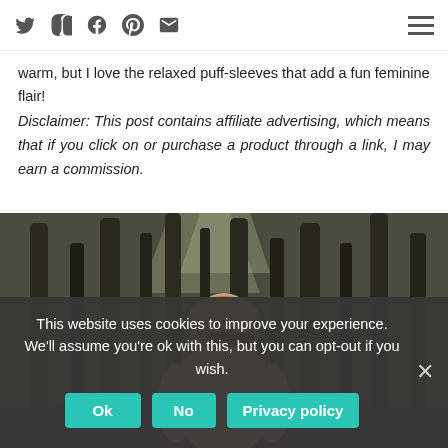Social media icons and hamburger menu navigation bar
warm, but I love the relaxed puff-sleeves that add a fun feminine flair!
Disclaimer: This post contains affiliate advertising, which means that if you click on or purchase a product through a link, I may earn a commission.
[Figure (photo): A woman with shoulder-length blonde hair and sunglasses, wearing a light pink sweater, standing outdoors in front of bare winter trees in a forest or woodland setting.]
This website uses cookies to improve your experience. We'll assume you're ok with this, but you can opt-out if you wish. Ok No Privacy policy